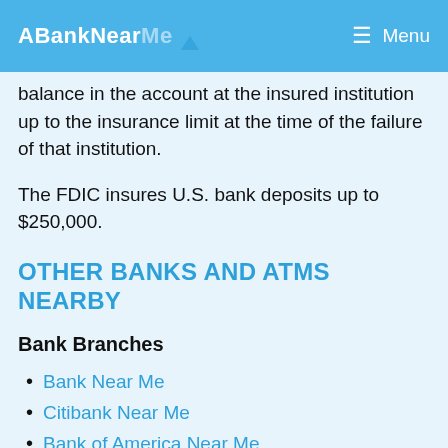ABankNearMe  Menu
balance in the account at the insured institution up to the insurance limit at the time of the failure of that institution.
The FDIC insures U.S. bank deposits up to $250,000.
OTHER BANKS AND ATMS NEARBY
Bank Branches
Bank Near Me
Citibank Near Me
Bank of America Near Me
PNC Bank Near Me